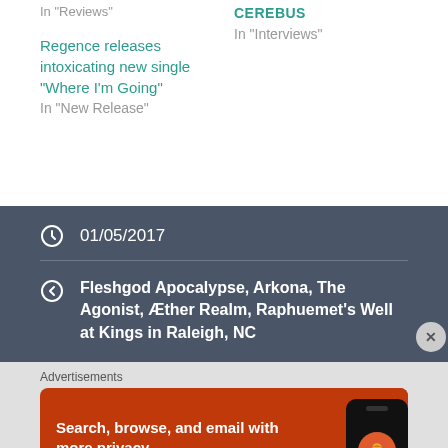In "Reviews"
CEREBUS
In "Interviews"
Regence releases intoxicating new single "Where I'm Going"
In "New Release"
01/05/2017
Fleshgod Apocalypse, Arkona, The Agonist, Æther Realm, Raphuemet's Well at Kings in Raleigh, NC
Advertisements
[Figure (photo): DuckDuckGo advertisement banner with orange background showing phone with DuckDuckGo app. Text: Search, browse, and email with more privacy. All in One Free App. DuckDuckGo.]